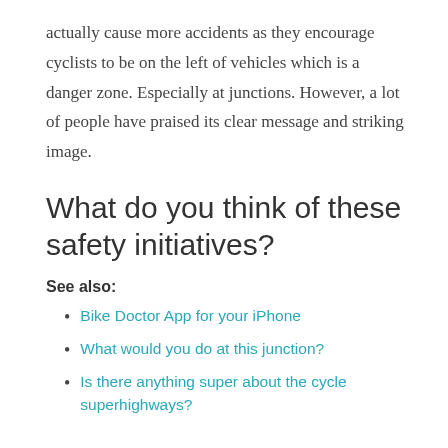actually cause more accidents as they encourage cyclists to be on the left of vehicles which is a danger zone. Especially at junctions. However, a lot of people have praised its clear message and striking image.
What do you think of these safety initiatives?
See also:
Bike Doctor App for your iPhone
What would you do at this junction?
Is there anything super about the cycle superhighways?